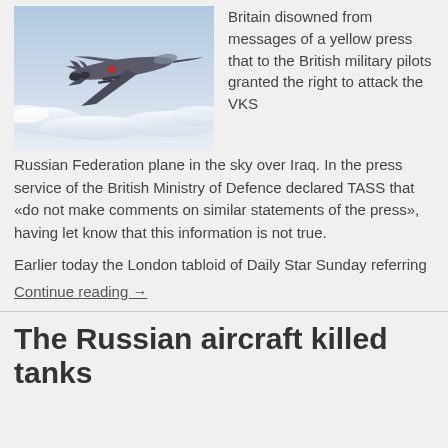[Figure (photo): Military fighter jet (likely Russian Su-34 or similar) flying above clouds, photographed from the side/rear angle]
Britain disowned from messages of a yellow press that to the British military pilots granted the right to attack the VKS Russian Federation plane in the sky over Iraq. In the press service of the British Ministry of Defence declared TASS that «do not make comments on similar statements of the press», having let know that this information is not true.
Earlier today the London tabloid of Daily Star Sunday referring
Continue reading →
The Russian aircraft killed tanks